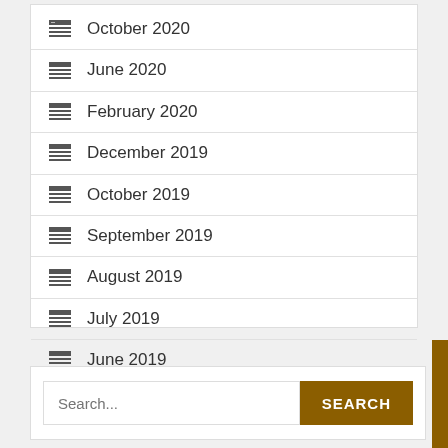October 2020
June 2020
February 2020
December 2019
October 2019
September 2019
August 2019
July 2019
June 2019
April 2019
Search...